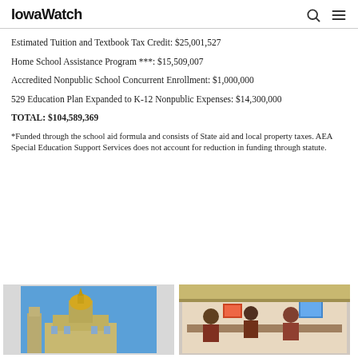IowaWatch
Estimated Tuition and Textbook Tax Credit: $25,001,527
Home School Assistance Program ***: $15,509,007
Accredited Nonpublic School Concurrent Enrollment: $1,000,000
529 Education Plan Expanded to K-12 Nonpublic Expenses: $14,300,000
TOTAL: $104,589,369
*Funded through the school aid formula and consists of State aid and local property taxes. AEA Special Education Support Services does not account for reduction in funding through statute.
[Figure (photo): Photo of Iowa state capitol building with gold dome against blue sky]
[Figure (photo): Photo of students in a classroom setting]